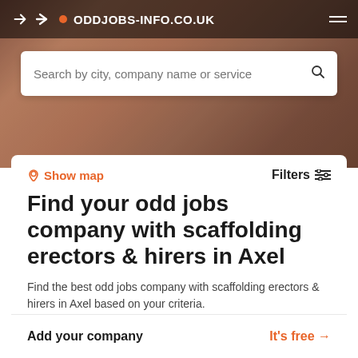ODDJOBS-INFO.CO.UK
Search by city, company name or service
Show map
Filters
Find your odd jobs company with scaffolding erectors & hirers in Axel
Find the best odd jobs company with scaffolding erectors & hirers in Axel based on your criteria.
Add your company
It's free →